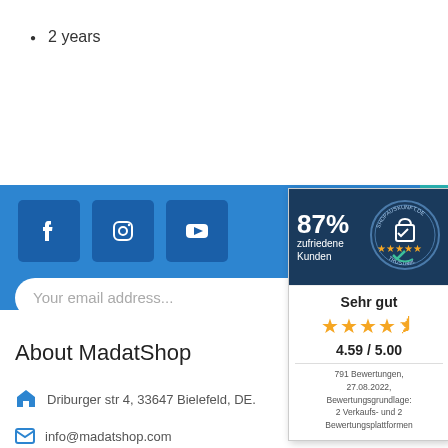2 years
[Figure (infographic): Blue footer bar with Facebook, Instagram, YouTube social media icon buttons, email input field, and a trust badge overlay showing 87% zufriedene Kunden, Sehr gut rating 4.59/5.00 with 4.5 stars, 791 Bewertungen 27.08.2022]
About MadatShop
Driburger str 4, 33647 Bielefeld, DE.
info@madatshop.com